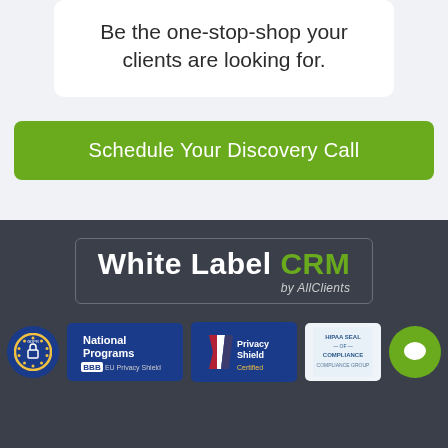Be the one-stop-shop your clients are looking for.
Schedule Your Discovery Call
[Figure (logo): White Label CRM by AllClients logo in a rounded rectangle border]
[Figure (logo): Row of trust badges: GDPR circle badge, BBB National Programs, Privacy Shield Certified, HIPAA Seal of Compliance, and a green chat button]